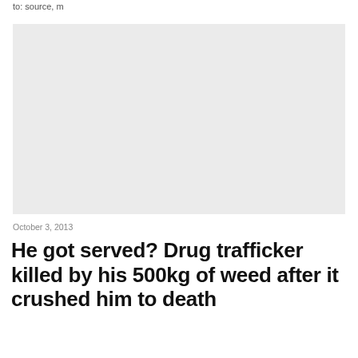to: source, m
[Figure (photo): Large light gray placeholder image box]
October 3, 2013
He got served? Drug trafficker killed by his 500kg of weed after it crushed him to death